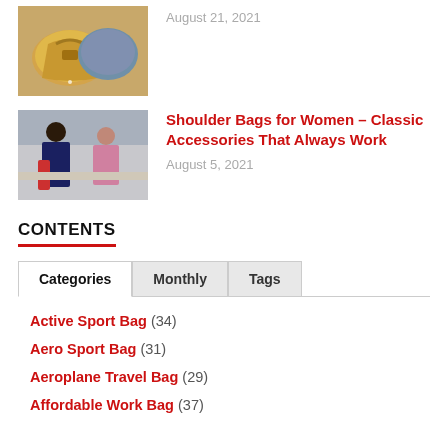[Figure (photo): Close-up photo of bags/purses (yellow/tan and blue)]
August 21, 2021
[Figure (photo): Two women at what appears to be a shopping counter or store]
Shoulder Bags for Women – Classic Accessories That Always Work
August 5, 2021
CONTENTS
Categories | Monthly | Tags (tab navigation)
Active Sport Bag (34)
Aero Sport Bag (31)
Aeroplane Travel Bag (29)
Affordable Work Bag (37)